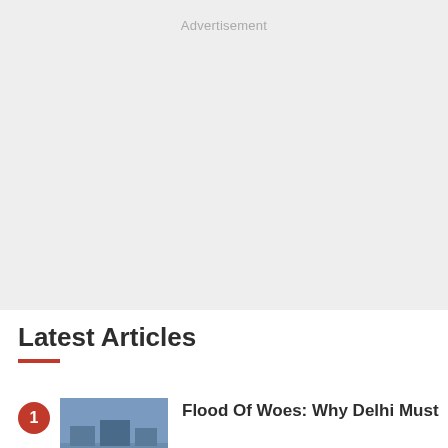[Figure (other): Advertisement placeholder block with light grey background and 'Advertisement' label at top center]
Latest Articles
[Figure (photo): Thumbnail photo showing a flooded street scene]
Flood Of Woes: Why Delhi Must